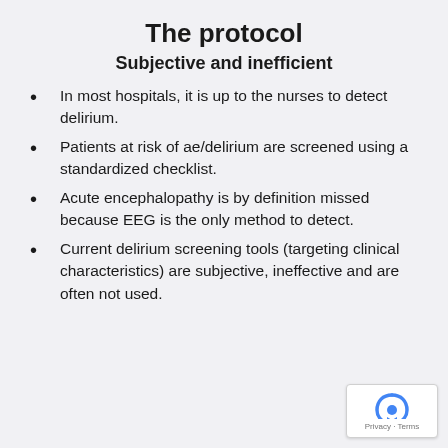The protocol
Subjective and inefficient
In most hospitals, it is up to the nurses to detect delirium.
Patients at risk of ae/delirium are screened using a standardized checklist.
Acute encephalopathy is by definition missed because EEG is the only method to detect.
Current delirium screening tools (targeting clinical characteristics) are subjective, ineffective and are often not used.